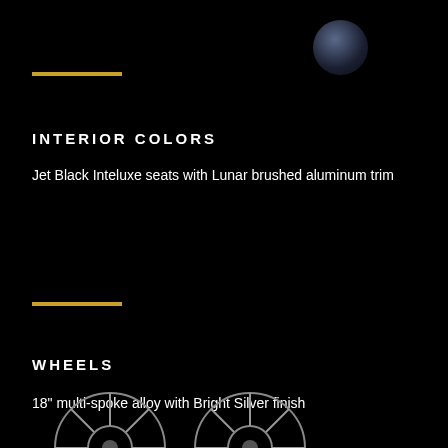[Figure (illustration): Dark navy/blue sphere in upper right area of page]
INTERIOR COLORS
Jet Black Inteluxe seats with Lunar brushed aluminum trim
WHEELS
18" multi-spoke alloy with Bright Silver finish
[Figure (photo): Partial alloy wheel images at bottom of page]